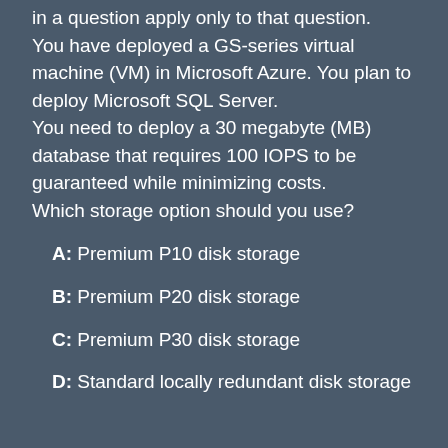in a question apply only to that question. You have deployed a GS-series virtual machine (VM) in Microsoft Azure. You plan to deploy Microsoft SQL Server. You need to deploy a 30 megabyte (MB) database that requires 100 IOPS to be guaranteed while minimizing costs. Which storage option should you use?
A: Premium P10 disk storage
B: Premium P20 disk storage
C: Premium P30 disk storage
D: Standard locally redundant disk storage